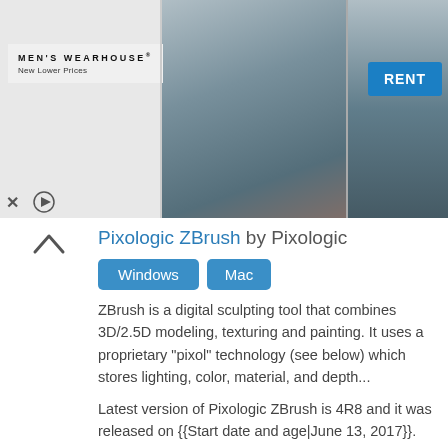[Figure (photo): Men's Wearhouse advertisement banner showing a couple in formalwear and a man in a suit, with a 'RENT' button]
Pixologic ZBrush by Pixologic
Windows
Mac
ZBrush is a digital sculpting tool that combines 3D/2.5D modeling, texturing and painting. It uses a proprietary "pixol" technology (see below) which stores lighting, color, material, and depth...
Latest version of Pixologic ZBrush is 4R8 and it was released on {{Start date and age|June 13, 2017}}.
Tags: 3d Graphics Software, 1999 Software, Windows Software, Classic Mac Os Software
Vectorworks Inc by Vectorworks, Inc.